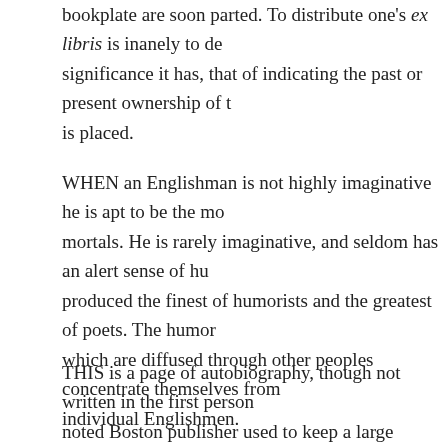bookplate are soon parted. To distribute one's ex libris is inanely to de- significance it has, that of indicating the past or present ownership of t- is placed.
WHEN an Englishman is not highly imaginative he is apt to be the mo- mortals. He is rarely imaginative, and seldom has an alert sense of hu- produced the finest of humorists and the greatest of poets. The humor which are diffused through other peoples concentrate themselves from individual Englishmen.
THIS is a page of autobiography, though not written in the first person noted Boston publisher used to keep a large memorandum-book on a t- office. The volume always lay open, and was in no manner a private a- receptacle of nothing more important than hastily scrawled reminders or the other. It chanced one day that a very young, unfledged author, p- city, looked in upon the publisher, who was also the editor of a famous unfledged had a copy of verses secreted about his person. The publish- young Milton, feeling that "they also serve who only stand and wait," Presently his eye fell upon the memorandum-book, lying there spread